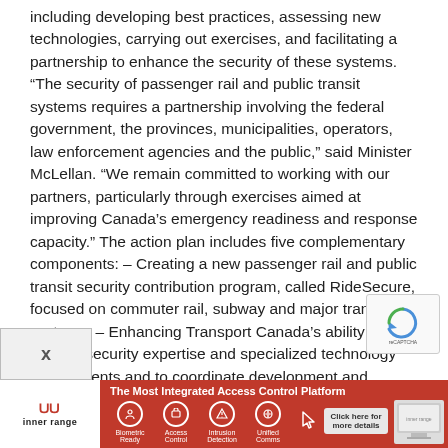including developing best practices, assessing new technologies, carrying out exercises, and facilitating a partnership to enhance the security of these systems. “The security of passenger rail and public transit systems requires a partnership involving the federal government, the provinces, municipalities, operators, law enforcement agencies and the public,” said Minister McLellan. “We remain committed to working with our partners, particularly through exercises aimed at improving Canada’s emergency readiness and response capacity.” The action plan includes five complementary components: – Creating a new passenger rail and public transit security contribution program, called RideSecure, focused on commuter rail, subway and major transit systems; – Enhancing Transport Canada’s ability to provide security expertise and specialized technology assessments and to coordinate development and sharing of best practices with its partners in rail and public transit security; – Allowing domestic ferry security enhancements to be eligible for funding under Transport Canada’s Marine Security Contribution Program; – Cond[ucting] a transit ov[erall security] ex[ercises] to be...
[Figure (other): reCAPTCHA widget in the bottom right area of the page]
[Figure (other): Inner Range advertisement banner at the bottom: 'The Most Integrated Access Control Platform' with icons for Biometric Ready, Access Control, Intrusion Detection, Unified Comms and a Click here for more details button]